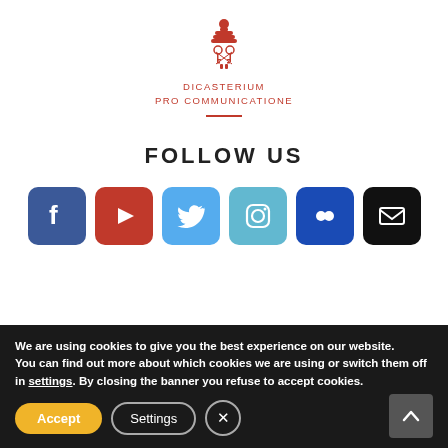[Figure (logo): Dicasterium Pro Communicatione Vatican emblem in red with papal keys and tiara symbol, with text DICASTERIUM PRO COMMUNICATIONE in red below]
FOLLOW US
[Figure (infographic): Six social media icon buttons in a row: Facebook (dark blue), YouTube (red), Twitter (light blue), Instagram (light blue/purple gradient), Flickr (dark blue), Email/Newsletter (black)]
We are using cookies to give you the best experience on our website.
You can find out more about which cookies we are using or switch them off in settings. By closing the banner you refuse to accept cookies.
Accept
Settings
×